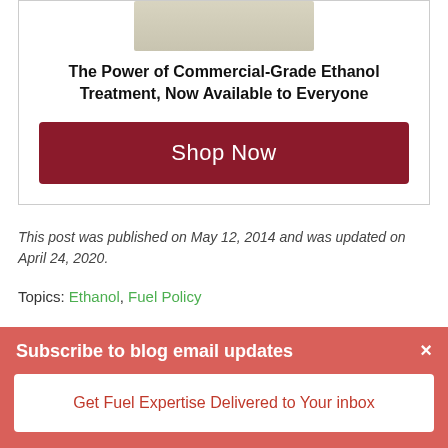[Figure (other): Advertisement box with product image placeholder, bold headline, and Shop Now button]
This post was published on May 12, 2014 and was updated on April 24, 2020.
Topics: Ethanol, Fuel Policy
Subscribe to blog email updates
Get Fuel Expertise Delivered to Your inbox